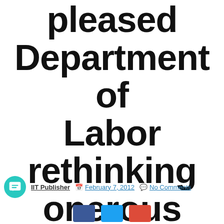pleased Department of Labor rethinking onerous regulation on farmers
IIT Publisher  February 7, 2012  No Comments